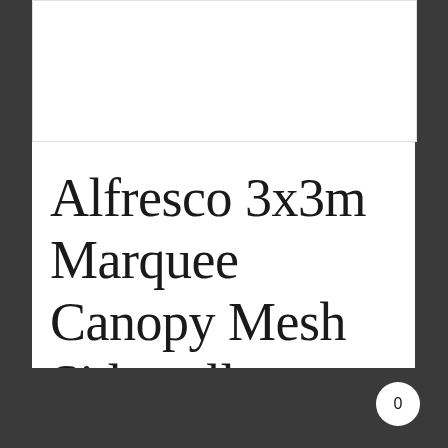[Figure (photo): White empty product image box with light border]
Alfresco 3x3m Marquee Canopy Mesh Sidewall, Coffee